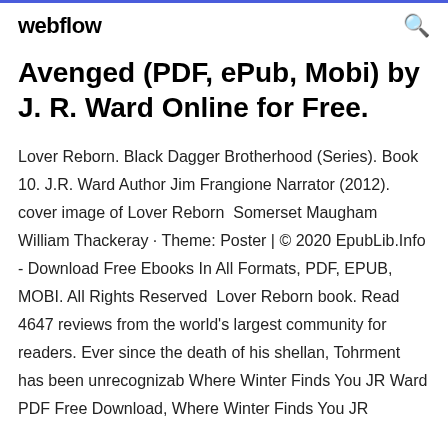webflow
Avenged (PDF, ePub, Mobi) by J. R. Ward Online for Free.
Lover Reborn. Black Dagger Brotherhood (Series). Book 10. J.R. Ward Author Jim Frangione Narrator (2012). cover image of Lover Reborn  Somerset Maugham William Thackeray · Theme: Poster | © 2020 EpubLib.Info - Download Free Ebooks In All Formats, PDF, EPUB, MOBI. All Rights Reserved  Lover Reborn book. Read 4647 reviews from the world's largest community for readers. Ever since the death of his shellan, Tohrment has been unrecognizab Where Winter Finds You JR Ward PDF Free Download, Where Winter Finds You JR